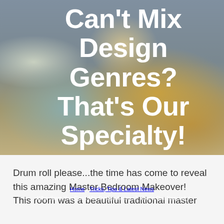[Figure (photo): Hero banner image of a stylishly decorated interior living room with yellow/tan armchairs, teal cushions, ornate rug, and a fireplace in the background. Serves as background for the page title.]
Can't Mix Design Genres? That's Our Specialty!
Home > Tricks, Tips & Latest News > Who Says You Can't Mix Design Genres? That's Our Specialty!
Drum roll please...the time has come to reveal this amazing Master Bedroom Makeover! This room was a beautiful traditional master